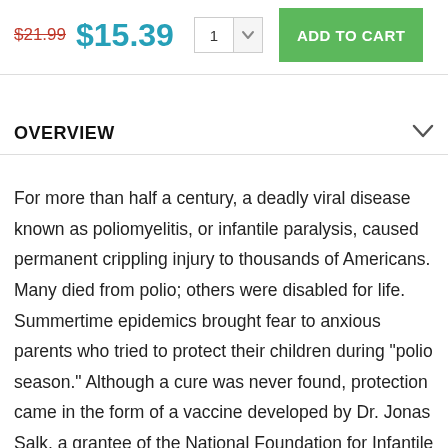$21.99  $15.39  1  ADD TO CART
OVERVIEW
For more than half a century, a deadly viral disease known as poliomyelitis, or infantile paralysis, caused permanent crippling injury to thousands of Americans. Many died from polio; others were disabled for life. Summertime epidemics brought fear to anxious parents who tried to protect their children during "polio season." Although a cure was never found, protection came in the form of a vaccine developed by Dr. Jonas Salk, a grantee of the National Foundation for Infantile Paralysis. The foundation, better known as